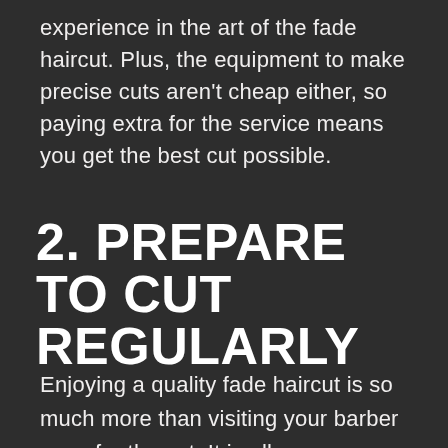experience in the art of the fade haircut. Plus, the equipment to make precise cuts aren't cheap either, so paying extra for the service means you get the best cut possible.
2. PREPARE TO CUT REGULARLY
Enjoying a quality fade haircut is so much more than visiting your barber once for the cut. It is all